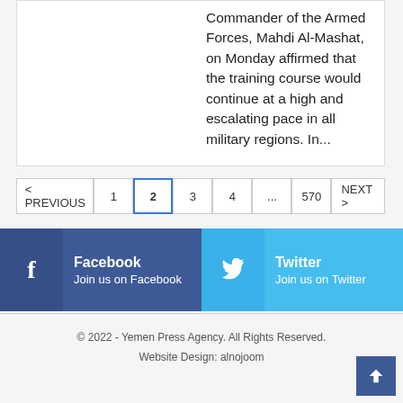Commander of the Armed Forces, Mahdi Al-Mashat, on Monday affirmed that the training course would continue at a high and escalating pace in all military regions. In...
< PREVIOUS  1  2  3  4  ...  570  NEXT >
Facebook – Join us on Facebook
Twitter – Join us on Twitter
© 2022 - Yemen Press Agency. All Rights Reserved.
Website Design: alnojoom